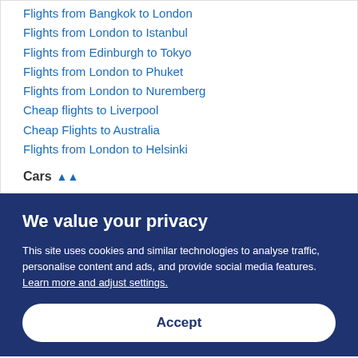Flights from Bangkok to London
Flights from London to Istanbul
Flights from Edinburgh to Tokyo
Flights from London to Phuket
Flights from London to Nuremberg
Cheap flights to Liverpool
Cheap Flights to Australia
Flights from London to Helsinki
Cars
We value your privacy
This site uses cookies and similar technologies to analyse traffic, personalise content and ads, and provide social media features. Learn more and adjust settings.